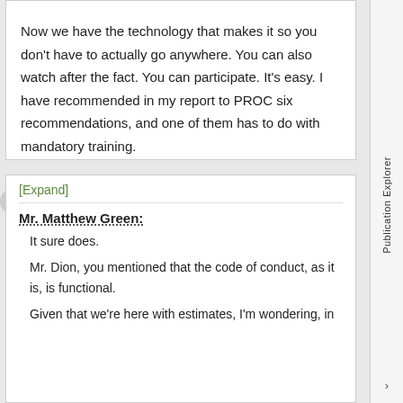Now we have the technology that makes it so you don't have to actually go anywhere. You can also watch after the fact. You can participate. It's easy. I have recommended in my report to PROC six recommendations, and one of them has to do with mandatory training.
[Expand]
Mr. Matthew Green:
It sure does.
Mr. Dion, you mentioned that the code of conduct, as it is, is functional.
Given that we're here with estimates, I'm wondering, in
Publication Explorer